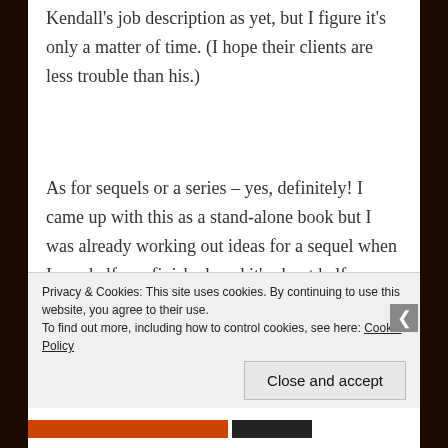Kendall's job description as yet, but I figure it's only a matter of time. (I hope their clients are less trouble than his.)
As for sequels or a series – yes, definitely! I came up with this as a stand-alone book but I was already working out ideas for a sequel when I was halfway finished, and it's about half-finished in
Privacy & Cookies: This site uses cookies. By continuing to use this website, you agree to their use.
To find out more, including how to control cookies, see here: Cookie Policy
Close and accept